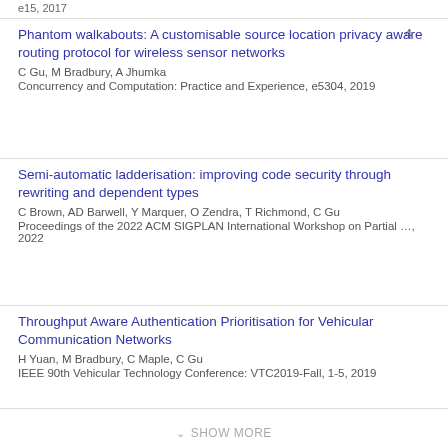e15, 2017
Phantom walkabouts: A customisable source location privacy aware routing protocol for wireless sensor networks
C Gu, M Bradbury, A Jhumka
Concurrency and Computation: Practice and Experience, e5304, 2019
Semi-automatic ladderisation: improving code security through rewriting and dependent types
C Brown, AD Barwell, Y Marquer, O Zendra, T Richmond, C Gu
Proceedings of the 2022 ACM SIGPLAN International Workshop on Partial …, 2022
Throughput Aware Authentication Prioritisation for Vehicular Communication Networks
H Yuan, M Bradbury, C Maple, C Gu
IEEE 90th Vehicular Technology Conference: VTC2019-Fall, 1-5, 2019
SHOW MORE